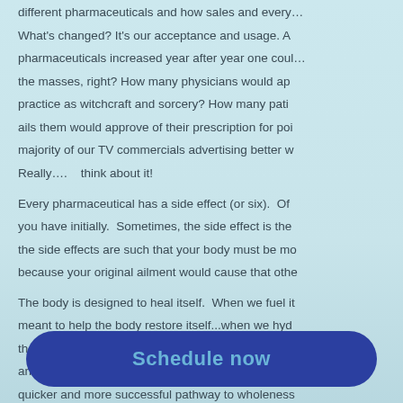different pharmaceuticals and how sales and every… What's changed? It's our acceptance and usage. As pharmaceuticals increased year after year one could… the masses, right? How many physicians would ap… practice as witchcraft and sorcery? How many pati… ails them would approve of their prescription for poi… majority of our TV commercials advertising better w… Really….  think about it! Every pharmaceutical has a side effect (or six). Of… you have initially. Sometimes, the side effect is the… the side effects are such that your body must be mo… because your original ailment would cause that othe… The body is designed to heal itself. When we fuel it… meant to help the body restore itself...when we hyd… they perform as designed… and when we rest and … and regain balance. An imbalance always has a ro… quicker and more successful pathway to wholeness… think about pharmaceuticals (medication) and see it… …ptom
Schedule now